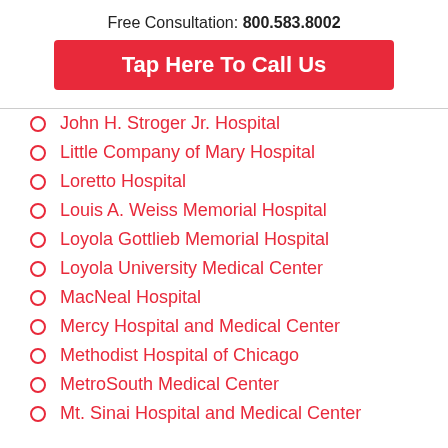Free Consultation: 800.583.8002
Tap Here To Call Us
John H. Stroger Jr. Hospital
Little Company of Mary Hospital
Loretto Hospital
Louis A. Weiss Memorial Hospital
Loyola Gottlieb Memorial Hospital
Loyola University Medical Center
MacNeal Hospital
Mercy Hospital and Medical Center
Methodist Hospital of Chicago
MetroSouth Medical Center
Mt. Sinai Hospital and Medical Center